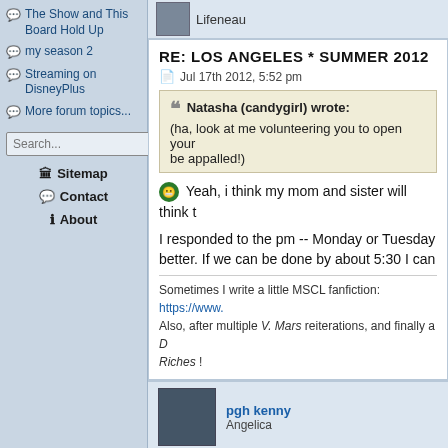The Show and This Board Hold Up
my season 2
Streaming on DisneyPlus
More forum topics...
Search...
RE: LOS ANGELES * SUMMER 2012
Jul 17th 2012, 5:52 pm
Natasha (candygirl) wrote: (ha, look at me volunteering you to open your be appalled!)
Yeah, i think my mom and sister will think t
I responded to the pm -- Monday or Tuesday better. If we can be done by about 5:30 I can
Sometimes I write a little MSCL fanfiction: https://www. Also, after multiple V. Mars reiterations, and finally a D Riches !
pgh kenny
Angelica
RE: LOS ANGELES * SUMMER 2012
Jul 18th 2012, 12:23 am